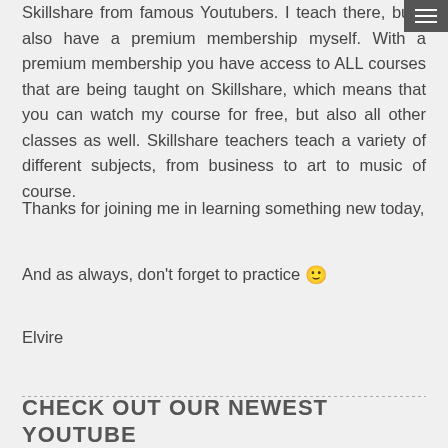menu
Skillshare from famous Youtubers. I teach there, but I also have a premium membership myself. With a premium membership you have access to ALL courses that are being taught on Skillshare, which means that you can watch my course for free, but also all other classes as well. Skillshare teachers teach a variety of different subjects, from business to art to music of course.
Thanks for joining me in learning something new today,
And as always, don't forget to practice 🙂
Elvire
CHECK OUT OUR NEWEST YOUTUBE